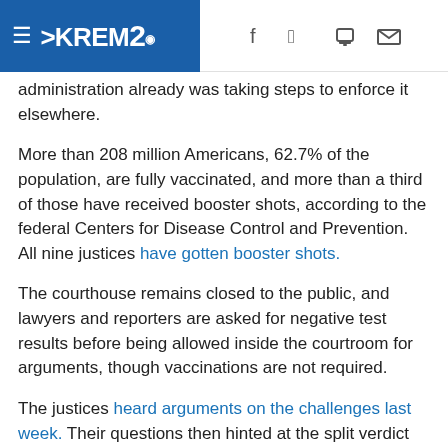KREM2 navigation header with hamburger menu, logo, and social icons (f, bird/twitter, phone, mail)
administration already was taking steps to enforce it elsewhere.
More than 208 million Americans, 62.7% of the population, are fully vaccinated, and more than a third of those have received booster shots, according to the federal Centers for Disease Control and Prevention. All nine justices have gotten booster shots.
The courthouse remains closed to the public, and lawyers and reporters are asked for negative test results before being allowed inside the courtroom for arguments, though vaccinations are not required.
The justices heard arguments on the challenges last week. Their questions then hinted at the split verdict that they issued Thursday.
A separate vaccine mandate for federal contractors, on hold after lower courts blocked it, has not been considered by